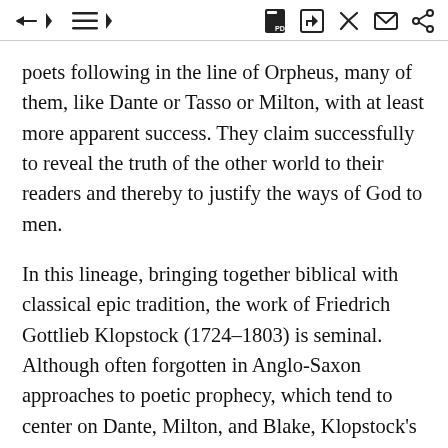toolbar icons (back, list, PDF, save, edit, mail, share)
poets following in the line of Orpheus, many of them, like Dante or Tasso or Milton, with at least more apparent success. They claim successfully to reveal the truth of the other world to their readers and thereby to justify the ways of God to men.
In this lineage, bringing together biblical with classical epic tradition, the work of Friedrich Gottlieb Klopstock (1724–1803) is seminal. Although often forgotten in Anglo-Saxon approaches to poetic prophecy, which tend to center on Dante, Milton, and Blake, Klopstock's epic poetic work, Der Messias, together with his five religious odes or hymns and his explicitly theoretical formulations in his essays, are